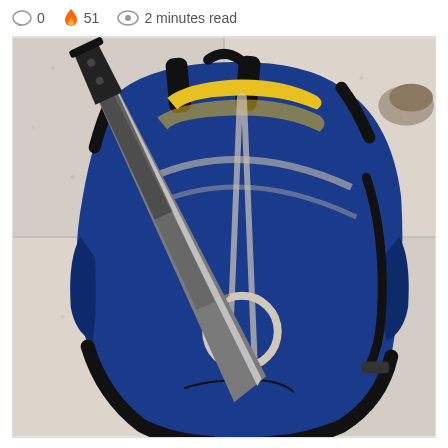0   51   2 minutes read
[Figure (photo): A blue and yellow Nike backpack lying on a tiled floor with a large machete/blade resting against it diagonally.]